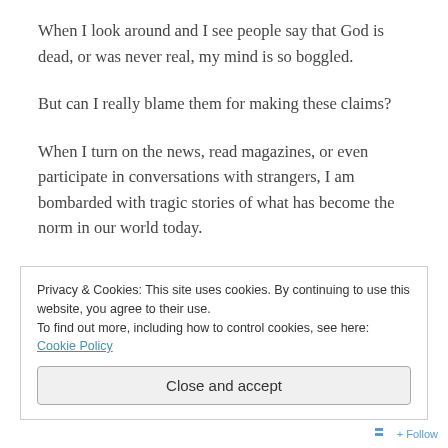When I look around and I see people say that God is dead, or was never real, my mind is so boggled.
But can I really blame them for making these claims?
When I turn on the news, read magazines, or even participate in conversations with strangers, I am bombarded with tragic stories of what has become the norm in our world today.
But my mind is not boggled just because I am a Christian girl who has never even once opened up her mind to all the other possible outcomes.
Privacy & Cookies: This site uses cookies. By continuing to use this website, you agree to their use. To find out more, including how to control cookies, see here: Cookie Policy
Close and accept